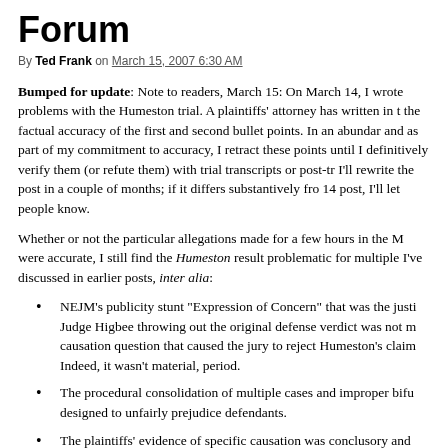Forum
By Ted Frank on March 15, 2007 6:30 AM
Bumped for update: Note to readers, March 15: On March 14, I wrote problems with the Humeston trial. A plaintiffs' attorney has written in to dispute the factual accuracy of the first and second bullet points. In an abundance, and as part of my commitment to accuracy, I retract these points until I can definitively verify them (or refute them) with trial transcripts or post-tr... I'll rewrite the post in a couple of months; if it differs substantively from the March 14 post, I'll let people know.
Whether or not the particular allegations made for a few hours in the M... were accurate, I still find the Humeston result problematic for multiple reasons I've discussed in earlier posts, inter alia:
NEJM's publicity stunt "Expression of Concern" that was the justi... Judge Higbee throwing out the original defense verdict was not m... causation question that caused the jury to reject Humeston's claim... Indeed, it wasn't material, period.
The procedural consolidation of multiple cases and improper bifu... designed to unfairly prejudice defendants.
The plaintiffs' evidence of specific causation was conclusory and...